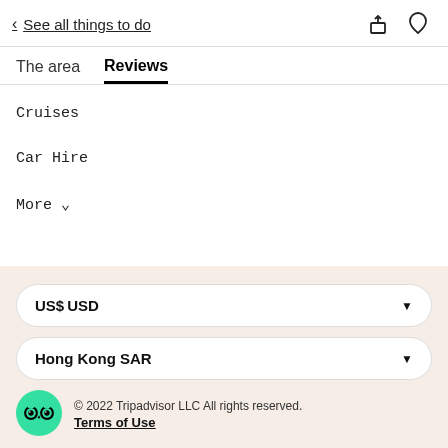< See all things to do
The area   Reviews
Cruises
Car Hire
More ▾
US$ USD
Hong Kong SAR
© 2022 Tripadvisor LLC All rights reserved. Terms of Use